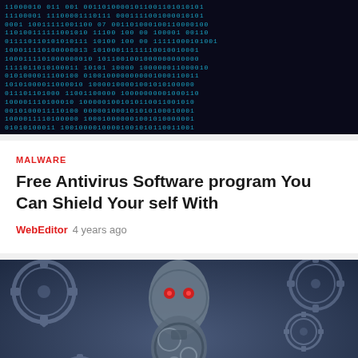[Figure (photo): Dark background with glowing blue binary code (ones and zeros) arranged in rows, representing cybersecurity or digital data theme.]
MALWARE
Free Antivirus Software program You Can Shield Your self With
WebEditor  4 years ago
[Figure (photo): A robot or human figure made entirely of metallic gears and cogs, with glowing red eyes, set against a blue background filled with more gears. A red scroll-to-top button with a chevron arrow is overlaid in the bottom right.]